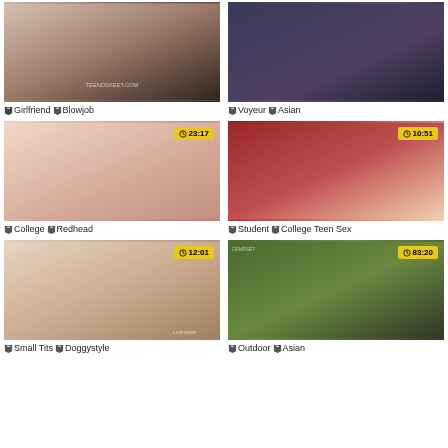[Figure (screenshot): Video thumbnail - intimate scene, light background]
Girlfriend  Blowjob
[Figure (screenshot): Video thumbnail - group scene, dark clothing]
Voyeur  Asian
[Figure (screenshot): Video thumbnail 23:17 - redhead on bed]
College  Redhead
[Figure (screenshot): Video thumbnail 10:51 - plaid skirt scene]
Student  College Teen Sex
[Figure (screenshot): Video thumbnail 12:01 - doggy style scene]
Small Tits  Doggystyle
[Figure (screenshot): Video thumbnail 83:20 - Asian woman outdoors]
Outdoor  Asian